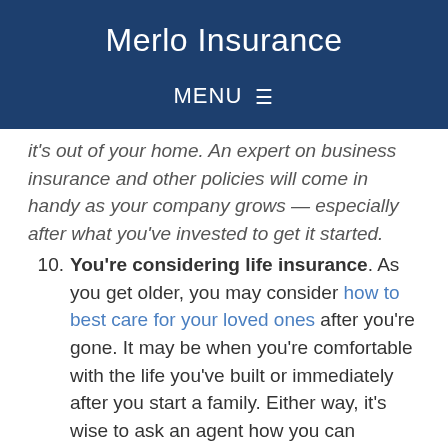Merlo Insurance
MENU ☰
it's out of your home. An expert on business insurance and other policies will come in handy as your company grows — especially after what you've invested to get it started.
10. You're considering life insurance. As you get older, you may consider how to best care for your loved ones after you're gone. It may be when you're comfortable with the life you've built or immediately after you start a family. Either way, it's wise to ask an agent how you can provide everything your family needs if